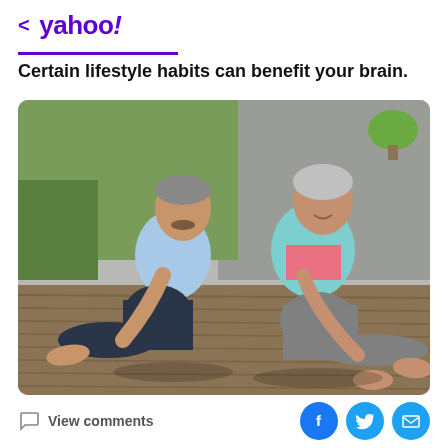< yahoo!
Certain lifestyle habits can benefit your brain.
[Figure (photo): Two older adults, a man and a woman, doing seated stretching exercises on a wooden deck outdoors. The man is wearing a light blue shirt and dark pants; the woman is wearing a teal jacket and gray pants. They are both barefoot and reaching toward their feet in a yoga-style stretch. Greenery and a gray wall are visible in the background.]
View comments